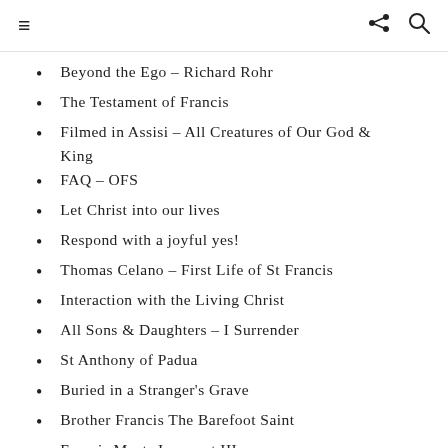≡   ≮ 🔍
Beyond the Ego – Richard Rohr
The Testament of Francis
Filmed in Assisi – All Creatures of Our God & King
FAQ – OFS
Let Christ into our lives
Respond with a joyful yes!
Thomas Celano – First Life of St Francis
Interaction with the Living Christ
All Sons & Daughters – I Surrender
St Anthony of Padua
Buried in a Stranger's Grave
Brother Francis The Barefoot Saint
Francis Meets Innocent III
God Who is…